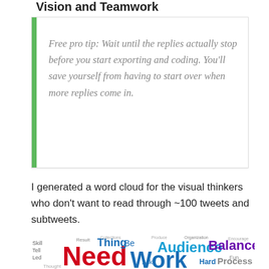Vision and Teamwork
Free pro tip: Wait until the replies actually stop before you start exporting and coding. You'll save yourself from having to start over when more replies come in.
I generated a word cloud for the visual thinkers who don't want to read through ~100 tweets and subtweets.
[Figure (other): Word cloud showing terms like Need, Work, Audience, Balance, Thing, Hard, Process, Tell, Led, Skill, Ask and many others in various colors and sizes]